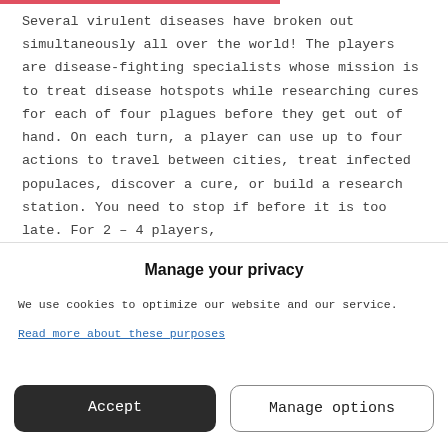Several virulent diseases have broken out simultaneously all over the world! The players are disease-fighting specialists whose mission is to treat disease hotspots while researching cures for each of four plagues before they get out of hand. On each turn, a player can use up to four actions to travel between cities, treat infected populaces, discover a cure, or build a research station. You need to stop if before it is too late. For 2 – 4 players,
Manage your privacy
We use cookies to optimize our website and our service.
Read more about these purposes
Accept
Manage options